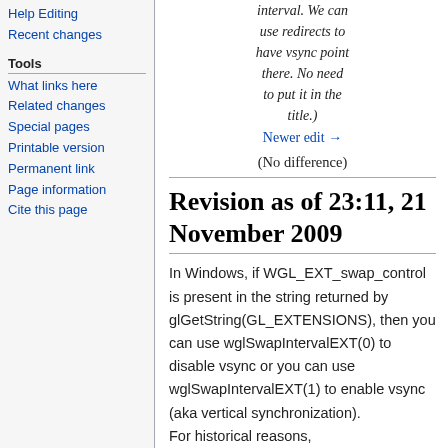Help Editing
Recent changes
Tools
What links here
Related changes
Special pages
Printable version
Permanent link
Page information
Cite this page
interval. We can use redirects to have vsync point there. No need to put it in the title.)
Newer edit →
(No difference)
Revision as of 23:11, 21 November 2009
In Windows, if WGL_EXT_swap_control is present in the string returned by glGetString(GL_EXTENSIONS), then you can use wglSwapIntervalEXT(0) to disable vsync or you can use wglSwapIntervalEXT(1) to enable vsync (aka vertical synchronization). For historical reasons,